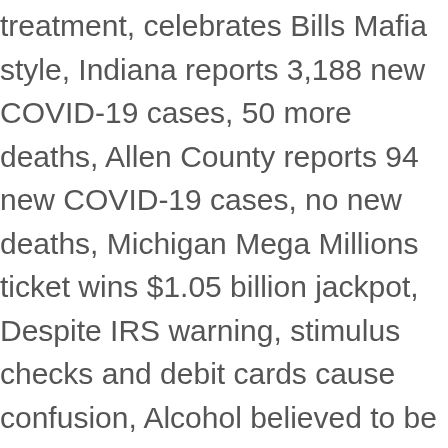treatment, celebrates Bills Mafia style, Indiana reports 3,188 new COVID-19 cases, 50 more deaths, Allen County reports 94 new COVID-19 cases, no new deaths, Michigan Mega Millions ticket wins $1.05 billion jackpot, Despite IRS warning, stimulus checks and debit cards cause confusion, Alcohol believed to be a factor in crash that left 1 with life-threatening injuries and 1 in custody, No-kill small animal shelter proposed for northeast Allen County, Person sustains non life-threatening injuries following shooting on southeast side, SLIDESHOW: Funny memes of Bernie Sanders and his Inaugural mittens is the gift that keeps on giving, US officials expect vaccine supplies to increase, NFL gives healthcare workers free Super Bowl tickets, Body of Bluffton man missing for 4 months found in wooded area, Tipton pizza deliveryman gifted new car from